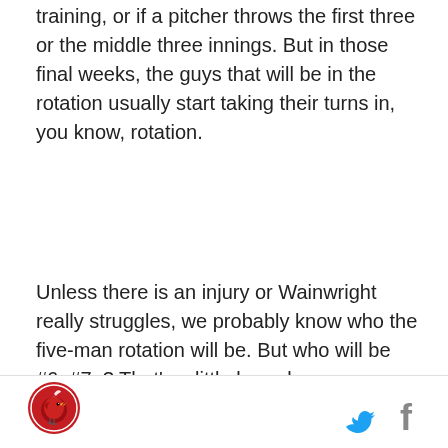training, or if a pitcher throws the first three or the middle three innings. But in those final weeks, the guys that will be in the rotation usually start taking their turns in, you know, rotation.
Unless there is an injury or Wainwright really struggles, we probably know who the five-man rotation will be. But who will be #6, #7..? That's a little less clear.
The Cardinals have said they will stretch newly-acquired Bud Norris out for potential use as a starter. Jack Flaherty will start the first game of the spring. Those two, along with Alex Reyes, were the first names John Mozeliak mentioned on this week's Cat Chat Podcast when pressed to identify who might be
[Figure (logo): St. Louis Cardinals bird logo in circular red badge]
[Figure (logo): Twitter bird icon in blue and Facebook f icon in gray]